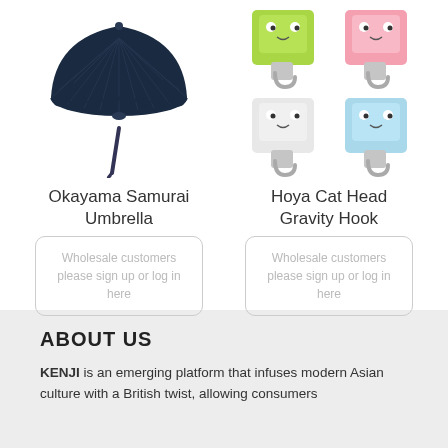[Figure (photo): Dark navy blue Japanese-style umbrella (Okayama Samurai Umbrella) with many ribs, viewed from above at an angle]
[Figure (photo): Four colorful cat-face gravity hooks (Hoya Cat Head Gravity Hook) in green, pink, white, and light blue colors]
Okayama Samurai Umbrella
Wholesale customers please sign up or log in here
Hoya Cat Head Gravity Hook
Wholesale customers please sign up or log in here
ABOUT US
KENJI is an emerging platform that infuses modern Asian culture with a British twist, allowing consumers